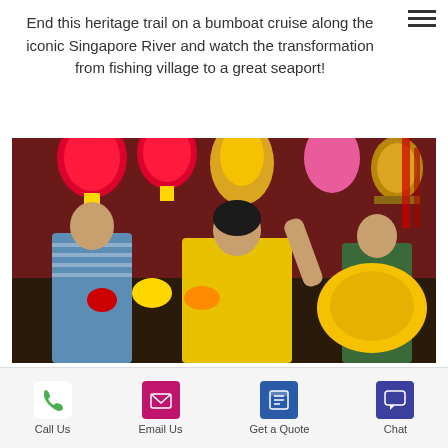End this heritage trail on a bumboat cruise along the iconic Singapore River and watch the transformation from fishing village to a great seaport!
[Figure (photo): People at a colorful Chinese market or festival stall with red lanterns, yellow decorations, lion dance costumes, and festive items.]
Passage of Life 3 hrs
From £139 per person / min. 2 people
Call Us | Email Us | Get a Quote | Chat